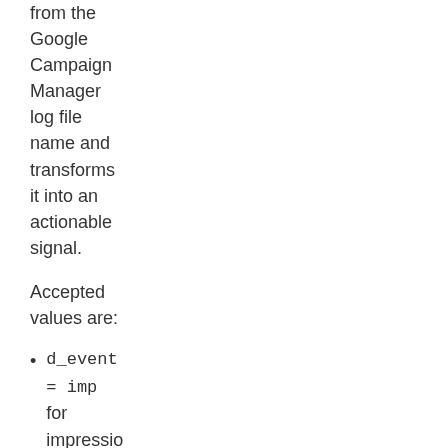from the Google Campaign Manager log file name and transforms it into an actionable signal.
Accepted values are:
d_event = imp for impressio
d_event